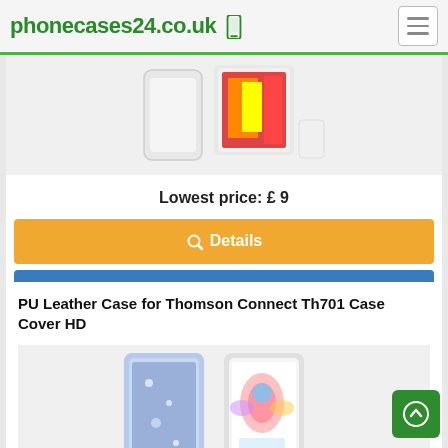phonecases24.co.uk
Lowest price: £ 9
Details
Check on [amazon]
PU Leather Case for Thomson Connect Th701 Case Cover HD
[Figure (photo): Product image of a phone case with floral/butterfly design, two views shown side by side]